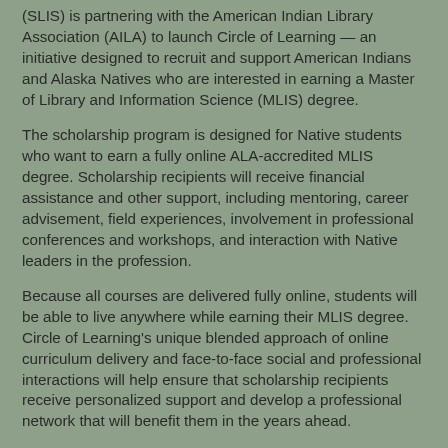(SLIS) is partnering with the American Indian Library Association (AILA) to launch Circle of Learning — an initiative designed to recruit and support American Indians and Alaska Natives who are interested in earning a Master of Library and Information Science (MLIS) degree.
The scholarship program is designed for Native students who want to earn a fully online ALA-accredited MLIS degree. Scholarship recipients will receive financial assistance and other support, including mentoring, career advisement, field experiences, involvement in professional conferences and workshops, and interaction with Native leaders in the profession.
Because all courses are delivered fully online, students will be able to live anywhere while earning their MLIS degree. Circle of Learning's unique blended approach of online curriculum delivery and face-to-face social and professional interactions will help ensure that scholarship recipients receive personalized support and develop a professional network that will benefit them in the years ahead.